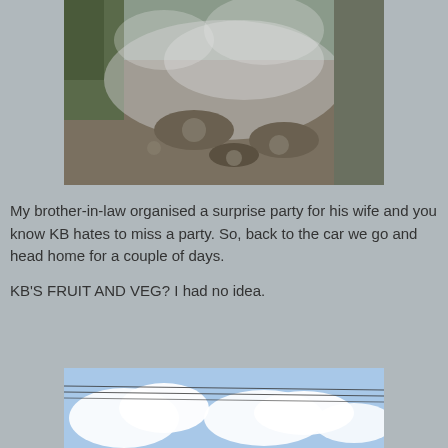[Figure (photo): A steaming geothermal or muddy ground area with vapor rising, viewed from above, surrounded by vegetation and rocky terrain]
My brother-in-law organised a surprise party for his wife and you know KB hates to miss a party. So, back to the car we go and head home for a couple of days.

KB'S FRUIT AND VEG? I had no idea.
[Figure (photo): A sky with white clouds and power lines visible, partial view of a road scene]